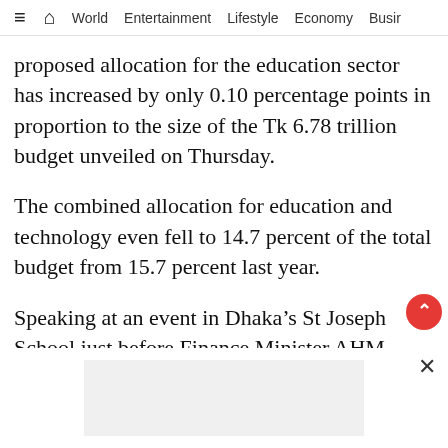≡  ⌂  World  Entertainment  Lifestyle  Economy  Busir
proposed allocation for the education sector has increased by only 0.10 percentage points in proportion to the size of the Tk 6.78 trillion budget unveiled on Thursday.
The combined allocation for education and technology even fell to 14.7 percent of the total budget from 15.7 percent last year.
Speaking at an event in Dhaka's St Joseph School just before Finance Minister AHM Mustafa Kamal presented the budget in parliament, Dipu Moni said the current allocation for the education sector is